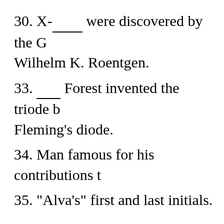30. X-_____ were discovered by the G Wilhelm K. Roentgen.
33. _____ Forest invented the triode b Fleming's diode.
34. Man famous for his contributions t
35. "Alva's" first and last initials.
Down